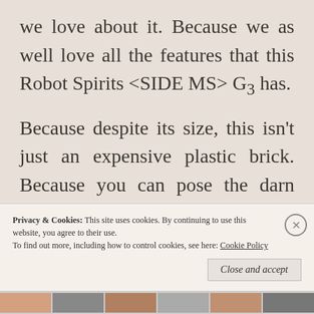we love about it. Because we as well love all the features that this Robot Spirits <SIDE MS> G3 has.
Because despite its size, this isn't just an expensive plastic brick. Because you can pose the darn thing and since it does come together with a stand, you as well could
Privacy & Cookies: This site uses cookies. By continuing to use this website, you agree to their use.
To find out more, including how to control cookies, see here: Cookie Policy
Close and accept